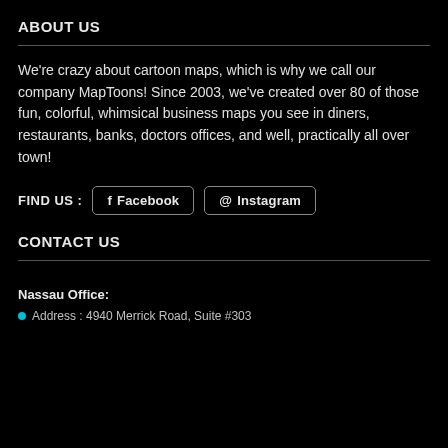ABOUT US
We're crazy about cartoon maps, which is why we call our company MapToons! Since 2003, we've created over 80 of those fun, colorful, whimsical business maps you see in diners, restaurants, banks, doctors offices, and well, practically all over town!
FIND US :
Facebook
Instagram
CONTACT US
Nassau Office:
Address : 4940 Merrick Road, Suite #303